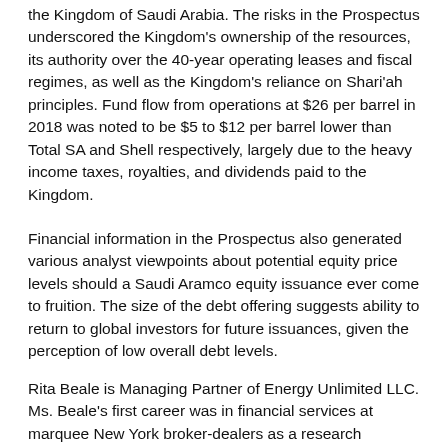the Kingdom of Saudi Arabia. The risks in the Prospectus underscored the Kingdom's ownership of the resources, its authority over the 40-year operating leases and fiscal regimes, as well as the Kingdom's reliance on Shari'ah principles. Fund flow from operations at $26 per barrel in 2018 was noted to be $5 to $12 per barrel lower than Total SA and Shell respectively, largely due to the heavy income taxes, royalties, and dividends paid to the Kingdom.
Financial information in the Prospectus also generated various analyst viewpoints about potential equity price levels should a Saudi Aramco equity issuance ever come to fruition. The size of the debt offering suggests ability to return to global investors for future issuances, given the perception of low overall debt levels.
Rita Beale is Managing Partner of Energy Unlimited LLC. Ms. Beale's first career was in financial services at marquee New York broker-dealers as a research